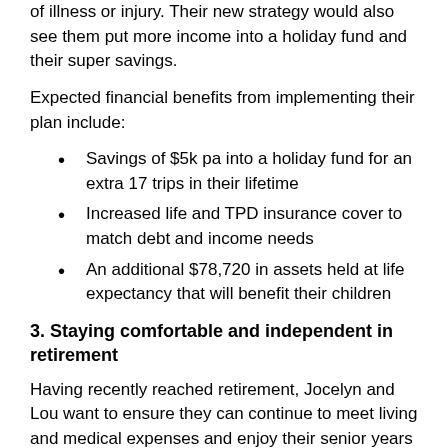of illness or injury. Their new strategy would also see them put more income into a holiday fund and their super savings.
Expected financial benefits from implementing their plan include:
Savings of $5k pa into a holiday fund for an extra 17 trips in their lifetime
Increased life and TPD insurance cover to match debt and income needs
An additional $78,720 in assets held at life expectancy that will benefit their children
3. Staying comfortable and independent in retirement
Having recently reached retirement, Jocelyn and Lou want to ensure they can continue to meet living and medical expenses and enjoy their senior years without financial stress. Not becoming a burden to their children is important to them and they'd like to retain assets to pass on to the next